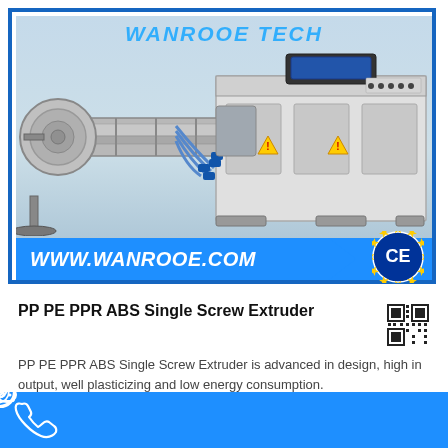[Figure (photo): Industrial single screw extruder machine — WANROOE TECH brand. Large cylindrical barrel on the left, control cabinet on the right with switches and panels. Blue arrow banner at the bottom of the image showing WWW.WANROOE.COM and CE certification badge.]
PP PE PPR ABS Single Screw Extruder
[Figure (other): QR code for product page]
PP PE PPR ABS Single Screw Extruder is advanced in design, high in output, well plasticizing and low energy consumption.
[Figure (infographic): Bottom contact bar with icons: phone, Skype, WeChat, WhatsApp, email]